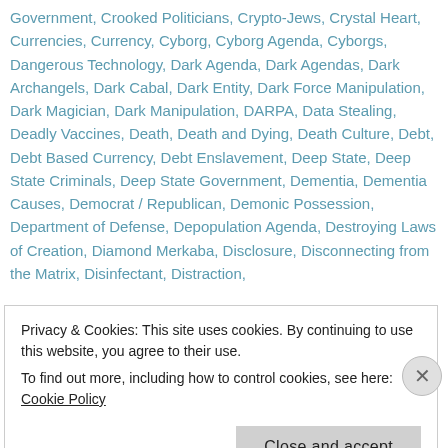Government, Crooked Politicians, Crypto-Jews, Crystal Heart, Currencies, Currency, Cyborg, Cyborg Agenda, Cyborgs, Dangerous Technology, Dark Agenda, Dark Agendas, Dark Archangels, Dark Cabal, Dark Entity, Dark Force Manipulation, Dark Magician, Dark Manipulation, DARPA, Data Stealing, Deadly Vaccines, Death, Death and Dying, Death Culture, Debt, Debt Based Currency, Debt Enslavement, Deep State, Deep State Criminals, Deep State Government, Dementia, Dementia Causes, Democrat / Republican, Demonic Possession, Department of Defense, Depopulation Agenda, Destroying Laws of Creation, Diamond Merkaba, Disclosure, Disconnecting from the Matrix, Disinfectant, Distraction,
Privacy & Cookies: This site uses cookies. By continuing to use this website, you agree to their use. To find out more, including how to control cookies, see here: Cookie Policy